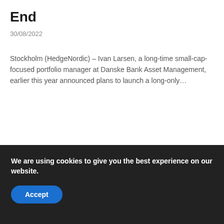End
30/08/2022
Stockholm (HedgeNordic) – Ivan Larsen, a long-time small-cap-focused portfolio manager at Danske Bank Asset Management, earlier this year announced plans to launch a long-only…
We are using cookies to give you the best experience on our website.
Accept